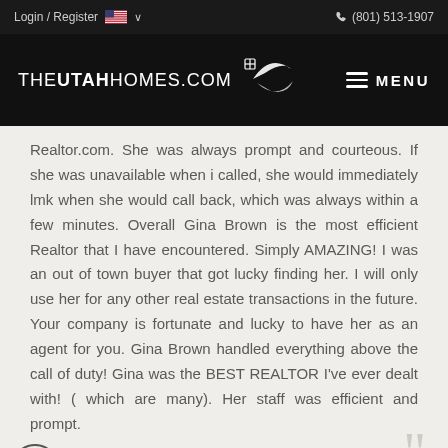Login / Register   🇺🇸 ∨        ☎ (801) 513-1907
[Figure (logo): TheUtahHomes.com logo with house/swoosh icon and MENU hamburger button on black background]
Realtor.com. She was always prompt and courteous. If she was unavailable when i called, she would immediately lmk when she would call back, which was always within a few minutes. Overall Gina Brown is the most efficient Realtor that I have encountered. Simply AMAZING! I was an out of town buyer that got lucky finding her. I will only use her for any other real estate transactions in the future. Your company is fortunate and lucky to have her as an agent for you. Gina Brown handled everything above the call of duty! Gina was the BEST REALTOR I've ever dealt with! ( which are many). Her staff was efficient and prompt.